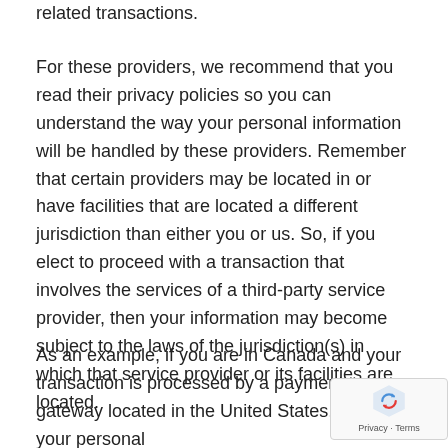related transactions.
For these providers, we recommend that you read their privacy policies so you can understand the way your personal information will be handled by these providers. Remember that certain providers may be located in or have facilities that are located a different jurisdiction than either you or us. So, if you elect to proceed with a transaction that involves the services of a third-party service provider, then your information may become subject to the laws of the jurisdiction(s) in which that service provider or its facilities are located.
As an example, if you are in Canada and your transaction is processed by a payment gateway located in the United States, then your persona…